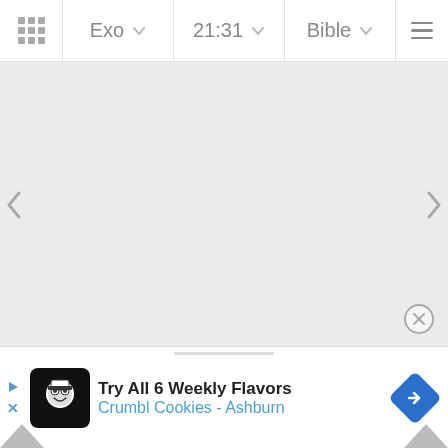Exo  21:31  Bible
[Figure (screenshot): Bible app screenshot showing navigation bar with Exo, 21:31, Bible dropdowns, and a blank reading area with left/right navigation arrows. An ad banner at the bottom shows 'Try All 6 Weekly Flavors' for Crumbl Cookies - Ashburn.]
Try All 6 Weekly Flavors
Crumbl Cookies - Ashburn